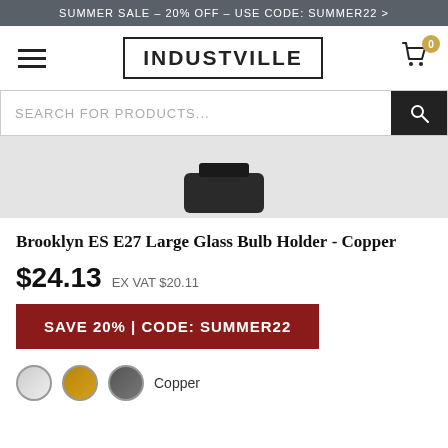SUMMER SALE – 20% OFF – USE CODE: SUMMER22 >
[Figure (logo): Industville logo in bordered rectangle, hamburger menu icon on left, cart icon with badge '0' on right]
[Figure (screenshot): Search bar with text 'SEARCH FOR PRODUCTS...' and black search button]
[Figure (photo): Partial product image of Brooklyn ES E27 Large Glass Bulb Holder on grey background]
Brooklyn ES E27 Large Glass Bulb Holder - Copper
$24.13  EX VAT $20.11
SAVE 20% | CODE: SUMMER22
Copper